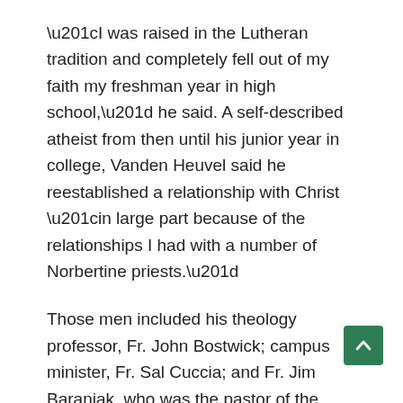“I was raised in the Lutheran tradition and completely fell out of my faith my freshman year in high school,” he said. A self-described atheist from then until his junior year in college, Vanden Heuvel said he reestablished a relationship with Christ “in large part because of the relationships I had with a number of Norbertine priests.”
Those men included his theology professor, Fr. John Bostwick; campus minister, Fr. Sal Cuccia; and Fr. Jim Baraniak, who was the pastor of the college parish when he was a student there.
Vanden Heuvel converted to Catholicism in 2014 under the guidance of Norbertine Fr. John